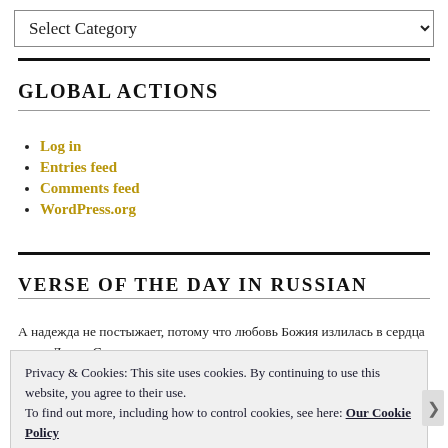[Figure (screenshot): Select Category dropdown menu at top of page]
GLOBAL ACTIONS
Log in
Entries feed
Comments feed
WordPress.org
VERSE OF THE DAY IN RUSSIAN
А надежда не постыжает, потому что любовь Божия излилась в сердца наши Духом Святым, данным нам.
Privacy & Cookies: This site uses cookies. By continuing to use this website, you agree to their use. To find out more, including how to control cookies, see here: Our Cookie Policy